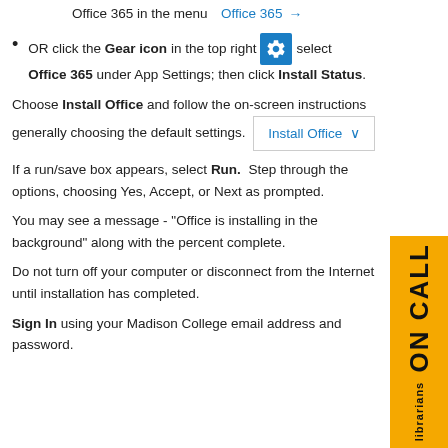Office 365 in the menu   Office 365 →
OR click the Gear icon in the top right [gear icon] select Office 365 under App Settings; then click Install Status.
Choose Install Office and follow the on-screen instructions generally choosing the default settings. [Install Office ˅]
If a run/save box appears, select Run.  Step through the options, choosing Yes, Accept, or Next as prompted.
You may see a message - "Office is installing in the background" along with the percent complete.
Do not turn off your computer or disconnect from the Internet until installation has completed.
Sign In using your Madison College email address and password.